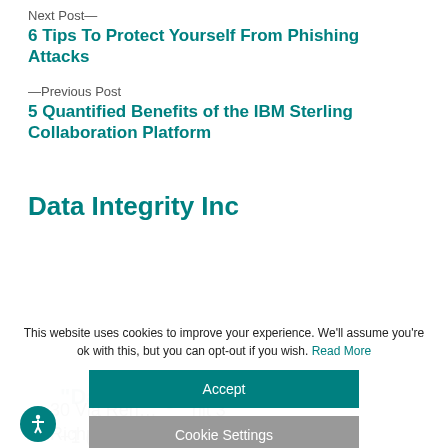Next Post—
6 Tips To Protect Yourself From Phishing Attacks
—Previous Post
5 Quantified Benefits of the IBM Sterling Collaboration Platform
Data Integrity Inc
This website uses cookies to improve your experience. We'll assume you're ok with this, but you can opt-out if you wish. Read More
Accept
Cookie Settings
30 Via Ren... nit 3
Richmond... S 0B8
+1 (416) 629-9113